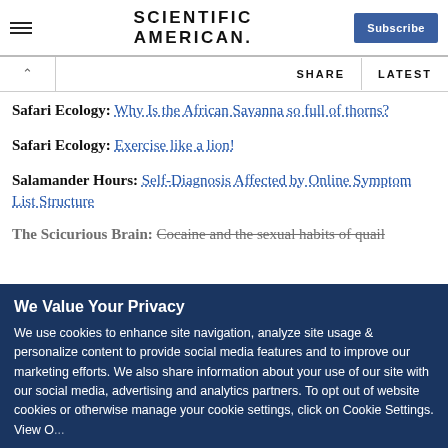SCIENTIFIC AMERICAN
Safari Ecology: Why Is the African Savanna so full of thorns?
Safari Ecology: Exercise like a lion!
Salamander Hours: Self-Diagnosis Affected by Online Symptom List Structure
The Scicurious Brain: Cocaine and the sexual habits of quail
We Value Your Privacy
We use cookies to enhance site navigation, analyze site usage & personalize content to provide social media features and to improve our marketing efforts. We also share information about your use of our site with our social media, advertising and analytics partners. To opt out of website cookies or otherwise manage your cookie settings, click on Cookie Settings. View Our...